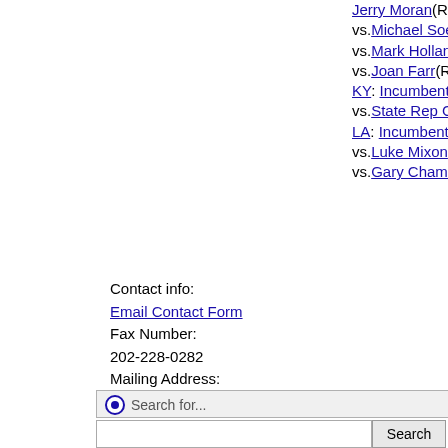Jerry Moran(R) vs.Michael Soetaert(D) vs.Mark Holland(D) vs.Joan Farr(R) KY: Incumbent Rand Paul(R) vs.State Rep Charles Booker(D) LA: Incumbent John Kennedy(R) vs.Luke Mixon(D) vs.Gary Chambers(D)
Contact info: Email Contact Form Fax Number: 202-228-0282 Mailing Address: Senate Office SR-478, Washington, DC 20510